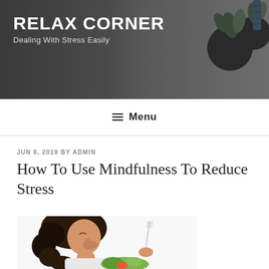RELAX CORNER
Dealing With Stress Easily
≡ Menu
JUN 8, 2019 BY ADMIN
How To Use Mindfulness To Reduce Stress
[Figure (photo): A young woman with dark curly hair smiling while eating a salad, holding a fork]